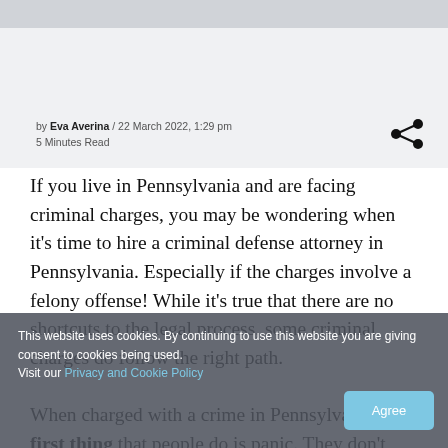by Eva Averina / 22 March 2022, 1:29 pm
5 Minutes Read
If you live in Pennsylvania and are facing criminal charges, you may be wondering when it's time to hire a criminal defense attorney in Pennsylvania. Especially if the charges involve a felony offense! While it's true that there are no shortcuts to the legal process, some criminal charges do follow the right path.
When charged with a crime in Pennsylvania, the first thing that people do is panic. They don't know what to do with themselves, and they need someone to guide them.
This website uses cookies. By continuing to use this website you are giving consent to cookies being used.
Visit our Privacy and Cookie Policy